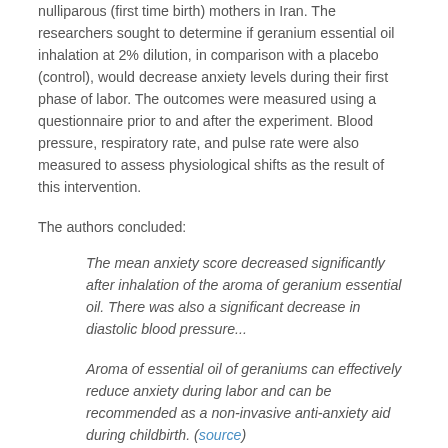nulliparous (first time birth) mothers in Iran. The researchers sought to determine if geranium essential oil inhalation at 2% dilution, in comparison with a placebo (control), would decrease anxiety levels during their first phase of labor. The outcomes were measured using a questionnaire prior to and after the experiment. Blood pressure, respiratory rate, and pulse rate were also measured to assess physiological shifts as the result of this intervention.
The authors concluded:
The mean anxiety score decreased significantly after inhalation of the aroma of geranium essential oil. There was also a significant decrease in diastolic blood pressure...
Aroma of essential oil of geraniums can effectively reduce anxiety during labor and can be recommended as a non-invasive anti-anxiety aid during childbirth. (source)
As noted, stress does not only effect reproductive hormones, but also impacts other biological outcomes and processes of